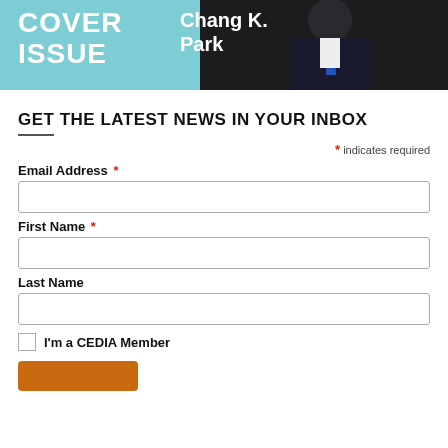[Figure (photo): Magazine cover image showing a person in a dark suit with blue tie against a teal/dark background, with text 'COVER ISSUE' and 'Chang K. Park' overlaid in white]
GET THE LATEST NEWS IN YOUR INBOX
* indicates required
Email Address *
First Name *
Last Name
I'm a CEDIA Member